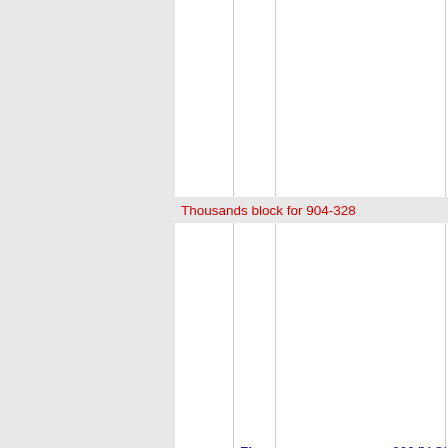Thousands block for 904-328
| NPA-NXX-X | State | Company | Code | City |
| --- | --- | --- | --- | --- |
| 904-328-0 | FL | SPRINT SPECTRUM, L.P. (T-Mobile US, Inc) | 6664 | JACK |